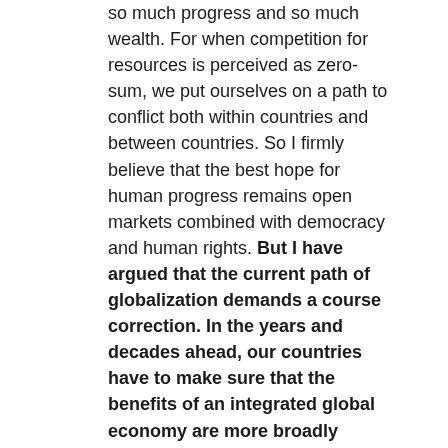so much progress and so much wealth.  For when competition for resources is perceived as zero-sum, we put ourselves on a path to conflict both within countries and between countries.  So I firmly believe that the best hope for human progress remains open markets combined with democracy and human rights.  But I have argued that the current path of globalization demands a course correction.  In the years and decades ahead, our countries have to make sure that the benefits of an integrated global economy are more broadly shared by more people, and that the negative impacts are squarely addressed. (Applause.)
And we actually know the path to building more inclusive economies.  It's just we too often don't have the political will or desire to get it done.  We know we need bold policies that spur growth and support jobs.  We know that we need to give workers more leverage and better wages, and that, in fact, if you give workers better wages businesses do better too, because their